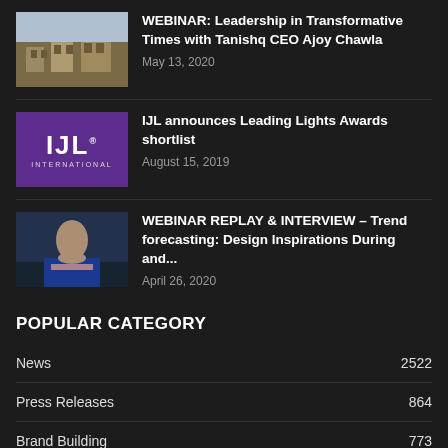[Figure (photo): Thumbnail photo of a building exterior]
WEBINAR: Leadership in Transformative Times with Tanishq CEO Ajoy Chawla
May 13, 2020
[Figure (logo): IJL International logo on purple background]
IJL announces Leading Lights Awards shortlist
August 15, 2019
[Figure (photo): Thumbnail photo of a man in a blue suit with arms crossed]
WEBINAR REPLAY & INTERVIEW – Trend forecasting: Design Inspirations During and...
April 26, 2020
POPULAR CATEGORY
News 2522
Press Releases 864
Brand Building 773
Latest Collections 533